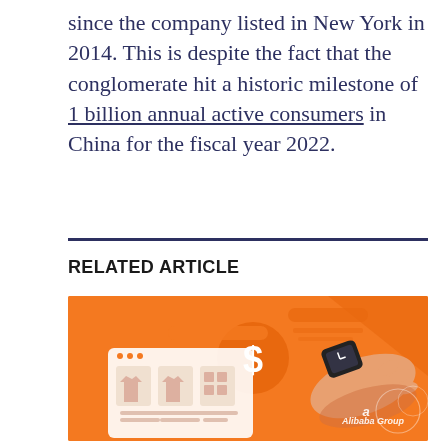since the company listed in New York in 2014. This is despite the fact that the conglomerate hit a historic milestone of 1 billion annual active consumers in China for the fiscal year 2022.
RELATED ARTICLE
[Figure (illustration): Orange-background illustration showing hands interacting with a smartwatch, with e-commerce product thumbnails and a dollar sign coin graphic. Alibaba Group branding in bottom right.]
Loa d...